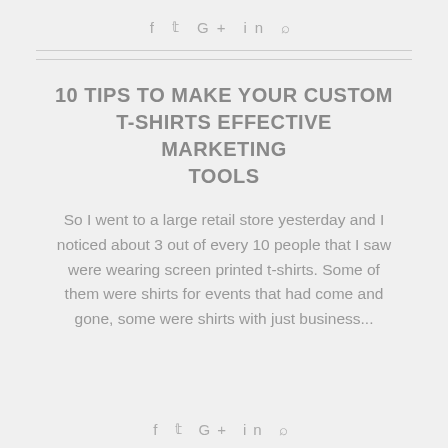[Figure (other): Social media share icons: Facebook, Twitter, Google+, LinkedIn, Pinterest]
10 TIPS TO MAKE YOUR CUSTOM T-SHIRTS EFFECTIVE MARKETING TOOLS
So I went to a large retail store yesterday and I noticed about 3 out of every 10 people that I saw were wearing screen printed t-shirts. Some of them were shirts for events that had come and gone, some were shirts with just business...
[Figure (other): Social media share icons at bottom: Facebook, Twitter, Google+, LinkedIn, Pinterest]